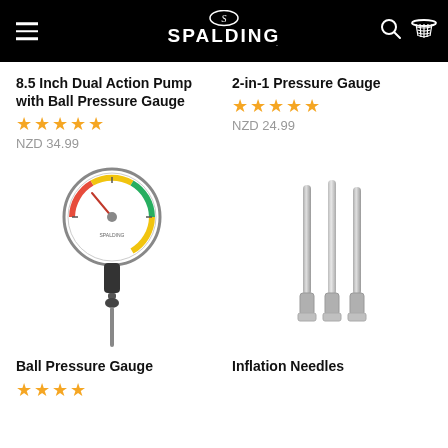SPALDING
8.5 Inch Dual Action Pump with Ball Pressure Gauge
★★★★★ NZD 34.99
2-in-1 Pressure Gauge
★★★★★ NZD 24.99
[Figure (photo): A ball pressure gauge with circular dial and needle insertion tube, shown against white background]
[Figure (photo): Three inflation needles with metallic tips and chrome bases, shown against white background]
Ball Pressure Gauge
★★★★
Inflation Needles